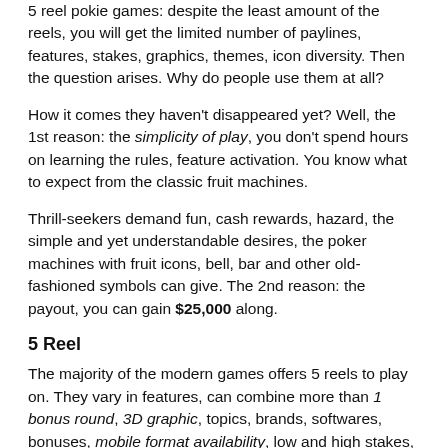5 reel pokie games: despite the least amount of the reels, you will get the limited number of paylines, features, stakes, graphics, themes, icon diversity. Then the question arises. Why do people use them at all?
How it comes they haven't disappeared yet? Well, the 1st reason: the simplicity of play, you don't spend hours on learning the rules, feature activation. You know what to expect from the classic fruit machines.
Thrill-seekers demand fun, cash rewards, hazard, the simple and yet understandable desires, the poker machines with fruit icons, bell, bar and other old-fashioned symbols can give. The 2nd reason: the payout, you can gain $25,000 along.
5 Reel
The majority of the modern games offers 5 reels to play on. They vary in features, can combine more than 1 bonus round, 3D graphic, topics, brands, softwares, bonuses, mobile format availability, low and high stakes, a progressive reward of 4 levels and many other options that stipulate for the real